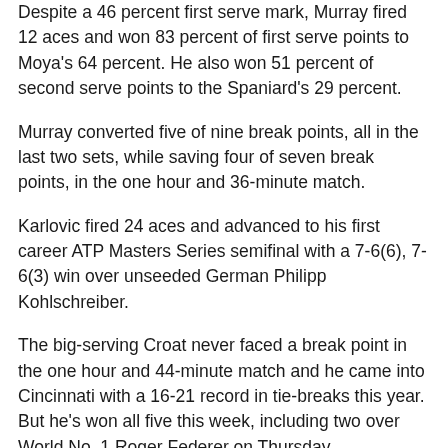Despite a 46 percent first serve mark, Murray fired 12 aces and won 83 percent of first serve points to Moya's 64 percent. He also won 51 percent of second serve points to the Spaniard's 29 percent.
Murray converted five of nine break points, all in the last two sets, while saving four of seven break points, in the one hour and 36-minute match.
Karlovic fired 24 aces and advanced to his first career ATP Masters Series semifinal with a 7-6(6), 7-6(3) win over unseeded German Philipp Kohlschreiber.
The big-serving Croat never faced a break point in the one hour and 44-minute match and he came into Cincinnati with a 16-21 record in tie-breaks this year. But he's won all five this week, including two over World No. 1 Roger Federer on Thursday.
"Well, I mean, of course in a tiebreak it's most important to serve well and to use your chances," said Karlovic. "I was playing well actually this week